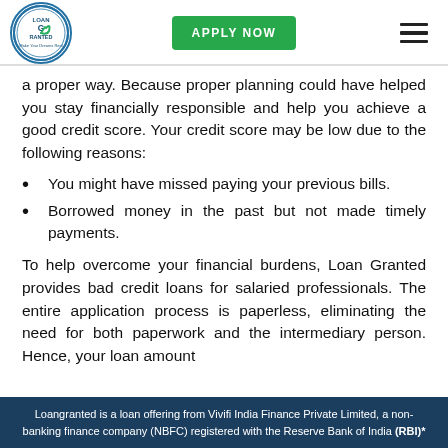Loan Granted logo | APPLY NOW | menu
a proper way. Because proper planning could have helped you stay financially responsible and help you achieve a good credit score. Your credit score may be low due to the following reasons:
You might have missed paying your previous bills.
Borrowed money in the past but not made timely payments.
To help overcome your financial burdens, Loan Granted provides bad credit loans for salaried professionals. The entire application process is paperless, eliminating the need for both paperwork and the intermediary person. Hence, your loan amount
Loangranted is a loan offering from Vivifi India Finance Private Limited, a non-banking finance company (NBFC) registered with the Reserve Bank of India (RBI)*